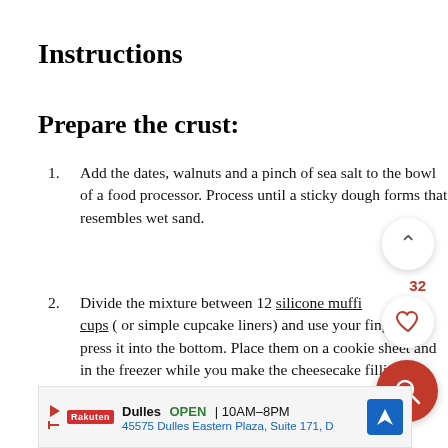Instructions
Prepare the crust:
Add the dates, walnuts and a pinch of sea salt to the bowl of a food processor. Process until a sticky dough forms that resembles wet sand.
Divide the mixture between 12 silicone muffin cups ( or simple cupcake liners) and use your fingers to press it into the bottom. Place them on a cookie sheet and in the freezer while you make the cheesecake filling.